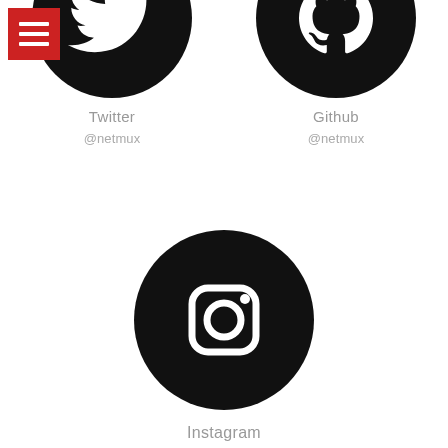[Figure (logo): Red hamburger menu button top-left corner]
[Figure (logo): Twitter logo — white bird silhouette on black circle]
Twitter
@netmux
[Figure (logo): Github logo — white Octocat silhouette on black circle]
Github
@netmux
[Figure (logo): Instagram logo — white camera outline on black circle]
Instagram
@netmux